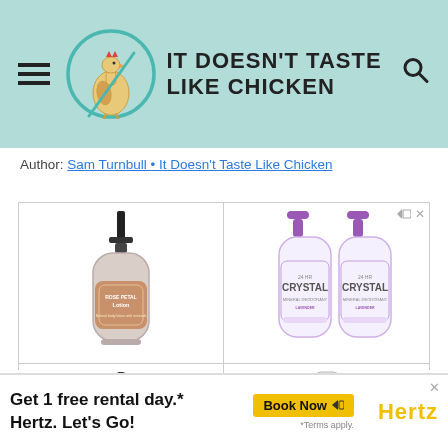[Figure (logo): It Doesn't Taste Like Chicken website header with logo circle containing a chicken illustration, site name text, hamburger menu icon on left, search icon on right, teal/mint background]
Author: Sam Turnbull • It Doesn't Taste Like Chicken
[Figure (photo): 2x2 grid of product photos: top-left shows a pump bottle of Rose Petal Lotion, top-right shows two Crystal deodorant spray bottles with purple caps, bottom-left shows a red pump bottle of Tumerica Body Wash Unscented, bottom-right shows a small amber glass dropper bottle from Aura Cacia]
[Figure (infographic): Advertisement banner at bottom: Get 1 free rental day.* Hertz. Let's Go! with Book Now button and Hertz logo, terms apply note]